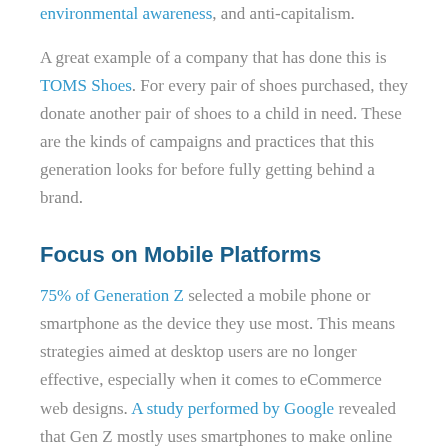environmental awareness, and anti-capitalism.
A great example of a company that has done this is TOMS Shoes. For every pair of shoes purchased, they donate another pair of shoes to a child in need. These are the kinds of campaigns and practices that this generation looks for before fully getting behind a brand.
Focus on Mobile Platforms
75% of Generation Z selected a mobile phone or smartphone as the device they use most. This means strategies aimed at desktop users are no longer effective, especially when it comes to eCommerce web designs. A study performed by Google revealed that Gen Z mostly uses smartphones to make online